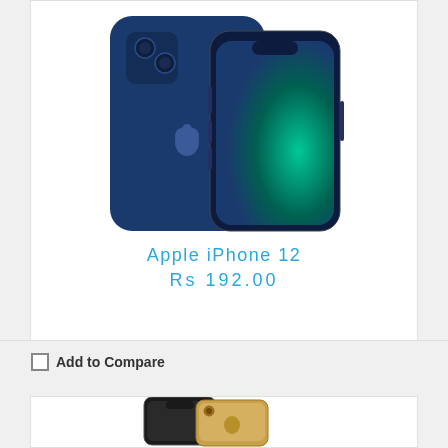[Figure (photo): Apple iPhone 12 in blue color, showing back and front views side by side]
Apple iPhone 12
Rs 192.00
Add to Compare
[Figure (photo): Apple iPhone XS in gold color, showing front and back views]